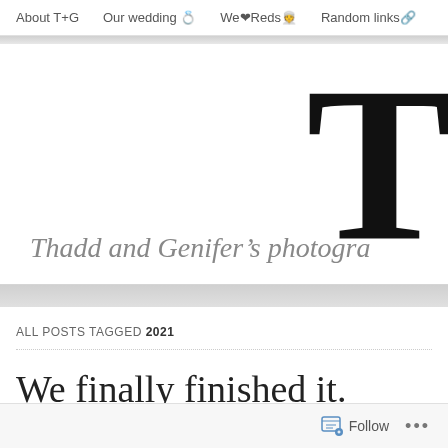About T+G   Our wedding 💍   We❤Reds👫   Random links🔗
[Figure (illustration): Large decorative letter T in black serif font, partially cropped on the right side of the header area]
Thadd and Genifer's photogra…
ALL POSTS TAGGED 2021
We finally finished it.